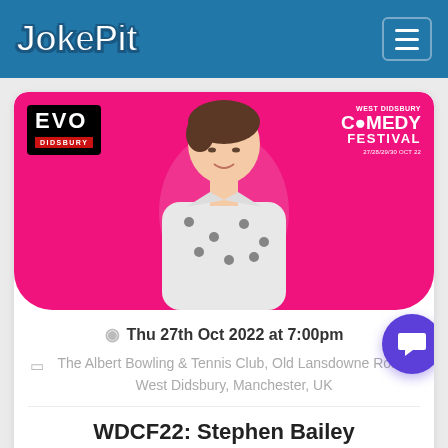JokePit
[Figure (photo): Event banner with pink background showing a man in a patterned shirt. EVO Didsbury logo top left, West Didsbury Comedy Festival logo top right.]
Thu 27th Oct 2022 at 7:00pm
The Albert Bowling & Tennis Club, Old Lansdowne Road, West Didsbury, Manchester, UK
WDCF22: Stephen Bailey